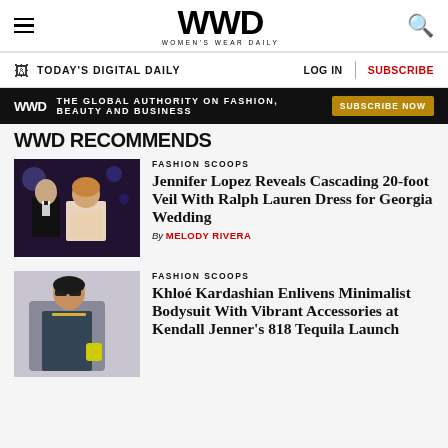WWD — Women's Wear Daily
TODAY'S DIGITAL DAILY | LOG IN | SUBSCRIBE
WWD — THE GLOBAL AUTHORITY ON FASHION, BEAUTY AND BUSINESS — SUBSCRIBE NOW
WWD RECOMMENDS
[Figure (photo): Couple in formal wear at an event — man in tuxedo, woman in low-cut dress]
FASHION SCOOPS
Jennifer Lopez Reveals Cascading 20-foot Veil With Ralph Lauren Dress for Georgia Wedding
By MELODY RIVERA
[Figure (photo): Woman in dark bodysuit with oversized blazer and sunglasses, carrying small yellow bag]
FASHION SCOOPS
Khloé Kardashian Enlivens Minimalist Bodysuit With Vibrant Accessories at Kendall Jenner's 818 Tequila Launch